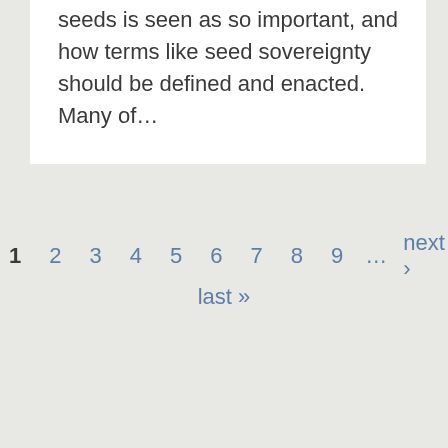seeds is seen as so important, and how terms like seed sovereignty should be defined and enacted. Many of…
1 2 3 4 5 6 7 8 9 … next › last »